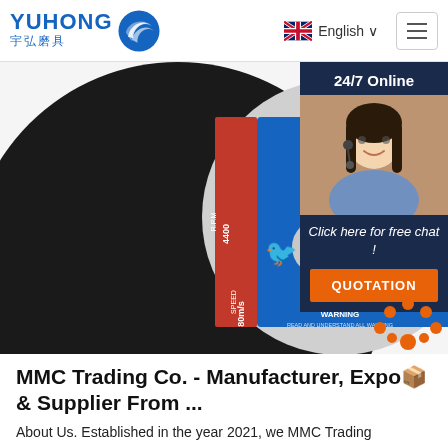[Figure (logo): YUHONG 宇弘磨具 logo with blue wave/bird icon]
[Figure (screenshot): Navigation bar with English language selector (UK flag) and hamburger menu button]
[Figure (photo): 14-inch abrasive cutting disc (T41 A46SBF, 355x3.0x25mm) with blue and red label showing YUHONG branding, RPM 4400, SPEED 80m/s, WARNING text, barcode]
[Figure (photo): 24/7 Online customer service chat widget with photo of smiling woman with headset, dark navy background, 'Click here for free chat!' text, and orange QUOTATION button]
MMC Trading Co. - Manufacturer, Exporter & Supplier From ...
About Us. Established in the year 2021, we MMC Trading